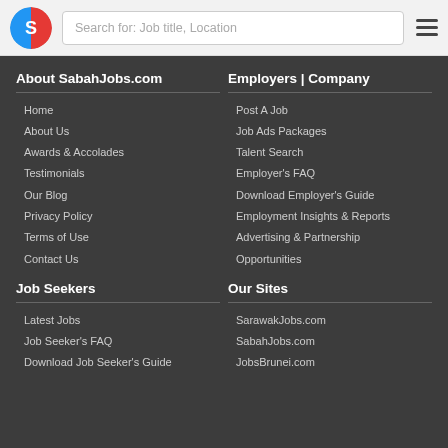[Figure (logo): SabahJobs.com circular logo with blue and red halves and white S icon]
Search for: Job title, Location
About SabahJobs.com
Home
About Us
Awards & Accolades
Testimonials
Our Blog
Privacy Policy
Terms of Use
Contact Us
Employers | Company
Post A Job
Job Ads Packages
Talent Search
Employer's FAQ
Download Employer's Guide
Employment Insights & Reports
Advertising & Partnership
Opportunities
Job Seekers
Latest Jobs
Job Seeker's FAQ
Download Job Seeker's Guide
Our Sites
SarawakJobs.com
SabahJobs.com
JobsBrunei.com